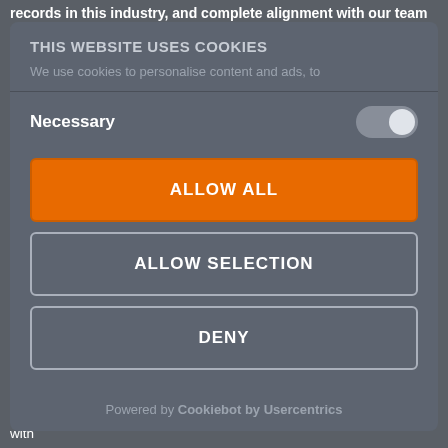records in this industry, and complete alignment with our team in their
THIS WEBSITE USES COOKIES
We use cookies to personalise content and ads, to
Necessary
ALLOW ALL
ALLOW SELECTION
DENY
Powered by Cookiebot by Usercentrics
"I'm so pleased to join an innovative company like Mosaic and work with